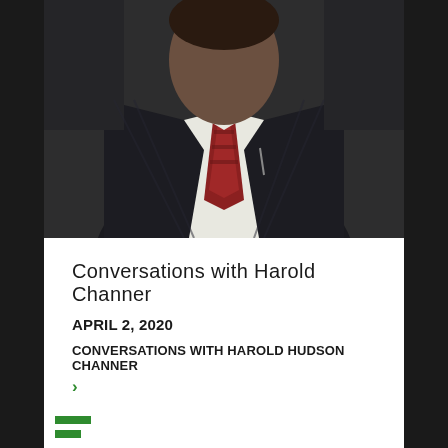[Figure (photo): A man in a dark suit and red patterned tie, photographed from the chest up, low quality/grainy video screenshot]
Conversations with Harold Channer
APRIL 2, 2020
CONVERSATIONS WITH HAROLD HUDSON CHANNER
>
58 min. Conversation with Bob Dannin and Jeff B. Harmon